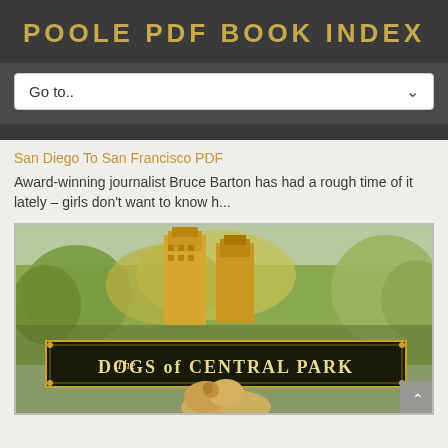POOLE PDF BOOK INDEX
Go to..
San Diego To San Francisco PDF
Award-winning journalist Bruce Barton has had a rough time of it lately – girls don't want to know h...
[Figure (photo): Book cover for 'The Dogs of Central Park' showing two tall Art Deco buildings behind trees in Central Park, with a fluffy dog in the foreground and a decorative gold border around the title text on a black banner.]